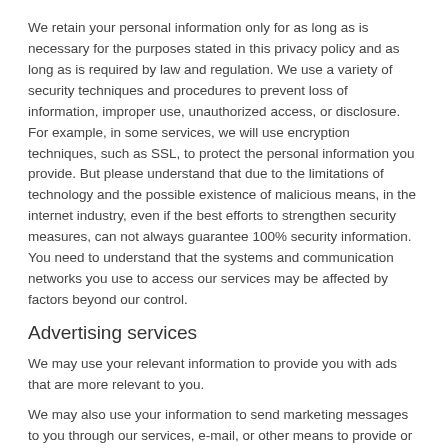We retain your personal information only for as long as is necessary for the purposes stated in this privacy policy and as long as is required by law and regulation. We use a variety of security techniques and procedures to prevent loss of information, improper use, unauthorized access, or disclosure. For example, in some services, we will use encryption techniques, such as SSL, to protect the personal information you provide. But please understand that due to the limitations of technology and the possible existence of malicious means, in the internet industry, even if the best efforts to strengthen security measures, can not always guarantee 100% security information. You need to understand that the systems and communication networks you use to access our services may be affected by factors beyond our control.
Advertising services
We may use your relevant information to provide you with ads that are more relevant to you.
We may also use your information to send marketing messages to you through our services, e-mail, or other means to provide or promote our or third-party goods and services.